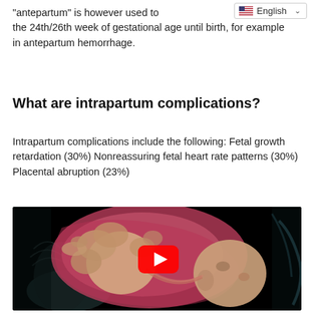“antepartum” is however used to describe the period from the 24th/26th week of gestational age until birth, for example in antepartum hemorrhage.
What are intrapartum complications?
Intrapartum complications include the following: Fetal growth retardation (30%) Nonreassuring fetal heart rate patterns (30%) Placental abruption (23%)
[Figure (illustration): 3D medical animation still of a fetus in utero showing the baby in a head-down position inside the womb, with a red YouTube play button overlay in the center of the image. Black background.]